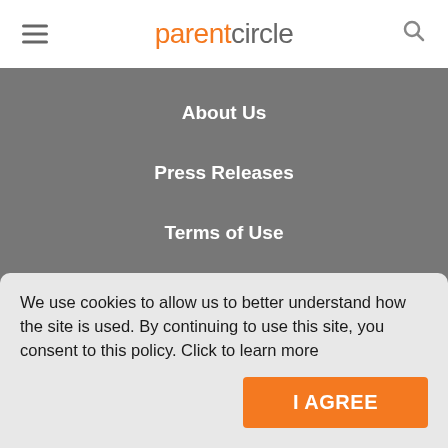parentcircle
About Us
Press Releases
Terms of Use
Privacy Policy
Contact Us
We use cookies to allow us to better understand how the site is used. By continuing to use this site, you consent to this policy. Click to learn more
I AGREE